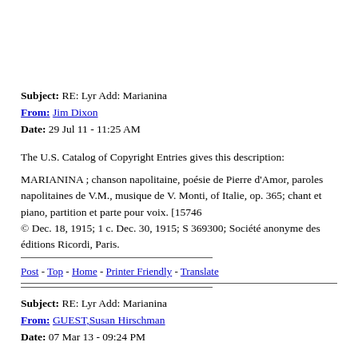Subject: RE: Lyr Add: Marianina
From: Jim Dixon
Date: 29 Jul 11 - 11:25 AM
The U.S. Catalog of Copyright Entries gives this description:
MARIANINA ; chanson napolitaine, poésie de Pierre d'Amor, paroles napolitaines de V.M., musique de V. Monti, of Italie, op. 365; chant et piano, partition et parte pour voix. [15746 © Dec. 18, 1915; 1 c. Dec. 30, 1915; S 369300; Société anonyme des éditions Ricordi, Paris.
Post - Top - Home - Printer Friendly - Translate
Subject: RE: Lyr Add: Marianina
From: GUEST,Susan Hirschman
Date: 07 Mar 13 - 09:24 PM